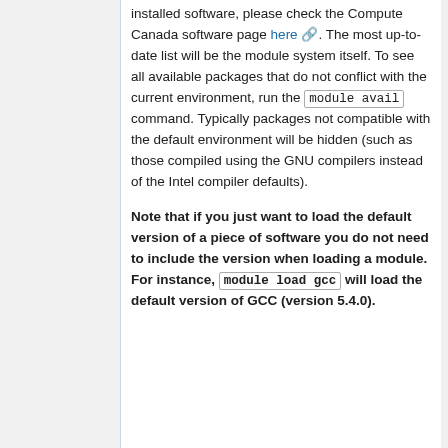installed software, please check the Compute Canada software page here. The most up-to-date list will be the module system itself. To see all available packages that do not conflict with the current environment, run the module avail command. Typically packages not compatible with the default environment will be hidden (such as those compiled using the GNU compilers instead of the Intel compiler defaults).
Note that if you just want to load the default version of a piece of software you do not need to include the version when loading a module. For instance, module load gcc will load the default version of GCC (version 5.4.0).